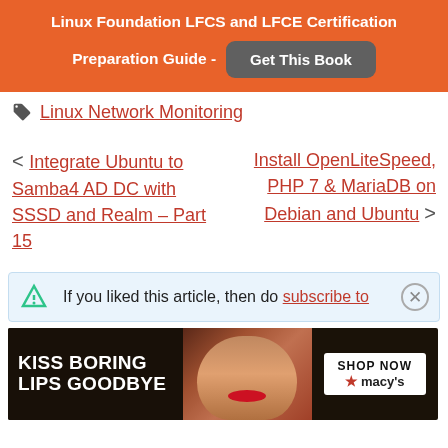[Figure (infographic): Orange promotional banner for Linux Foundation LFCS and LFCE Certification Preparation Guide with a grey 'Get This Book' button]
Linux Network Monitoring
< Integrate Ubuntu to Samba4 AD DC with SSSD and Realm – Part 15
Install OpenLiteSpeed, PHP 7 & MariaDB on Debian and Ubuntu >
If you liked this article, then do subscribe to
[Figure (photo): Advertisement banner: KISS BORING LIPS GOODBYE – SHOP NOW – macy's, with image of woman with red lips]